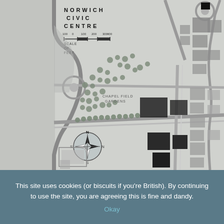[Figure (map): Architectural/planning map of Norwich Civic Centre showing roads, buildings, open spaces, trees, and a compass rose. Title reads 'NORWICH CIVIC CENTRE' with a scale bar in feet. Shows Chapel Field Gardens and surrounding street layout.]
This site uses cookies (or biscuits if you're British). By continuing to use the site, you are agreeing this is fine and dandy.
Okay